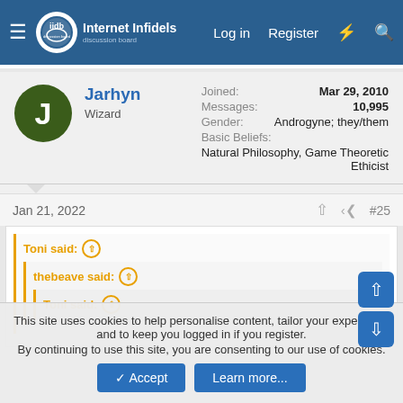Internet Infidels — Log in  Register
Jarhyn
Wizard
Joined: Mar 29, 2010
Messages: 10,995
Gender: Androgyne; they/them
Basic Beliefs: Natural Philosophy, Game Theoretic Ethicist
Jan 21, 2022  #25
Toni said: ↑
thebeave said: ↑
Toni said: ↑
This site uses cookies to help personalise content, tailor your experience and to keep you logged in if you register.
By continuing to use this site, you are consenting to our use of cookies.